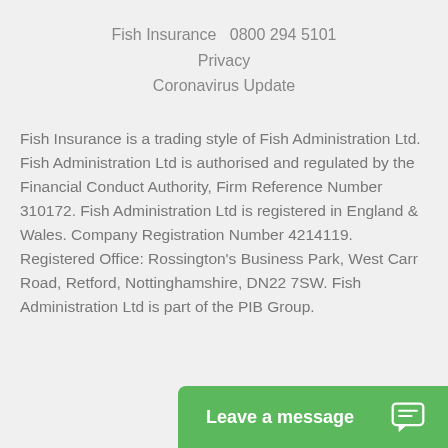Fish Insurance  0800 294 5101
Privacy
Coronavirus Update
Fish Insurance is a trading style of Fish Administration Ltd. Fish Administration Ltd is authorised and regulated by the Financial Conduct Authority, Firm Reference Number 310172. Fish Administration Ltd is registered in England & Wales. Company Registration Number 4214119. Registered Office: Rossington's Business Park, West Carr Road, Retford, Nottinghamshire, DN22 7SW. Fish Administration Ltd is part of the PIB Group.
[Figure (other): Green 'Leave a message' chat button with speech bubble icon]